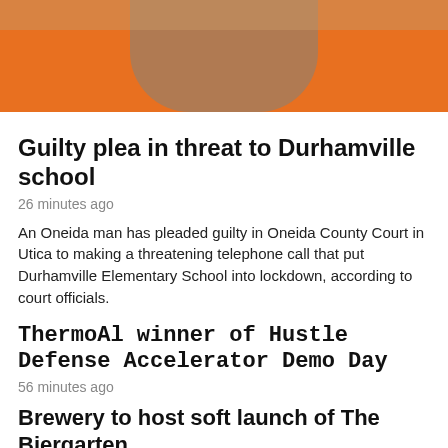[Figure (photo): Close-up photo of the back of a person's neck and head, wearing an orange garment, against a light background.]
Guilty plea in threat to Durhamville school
26 minutes ago
An Oneida man has pleaded guilty in Oneida County Court in Utica to making a threatening telephone call that put Durhamville Elementary School into lockdown, according to court officials.
ThermoAl winner of Hustle Defense Accelerator Demo Day
56 minutes ago
Brewery to host soft launch of The Biergarten
3 hours ago
[Figure (infographic): Row of social sharing icons: Facebook, Print, LinkedIn, Pinterest, Twitter, Email, Buffer, Digg, Reddit, StumbleUpon, Yummly]